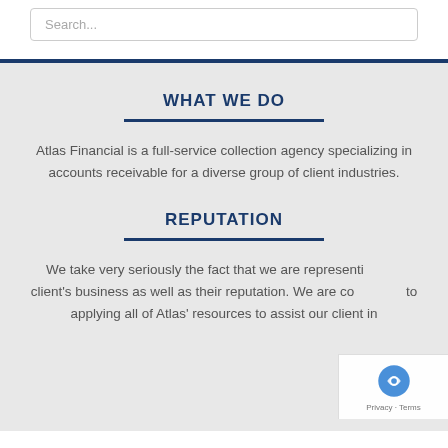Search...
WHAT WE DO
Atlas Financial is a full-service collection agency specializing in accounts receivable for a diverse group of client industries.
REPUTATION
We take very seriously the fact that we are representing our client's business as well as their reputation. We are committed to applying all of Atlas' resources to assist our client in